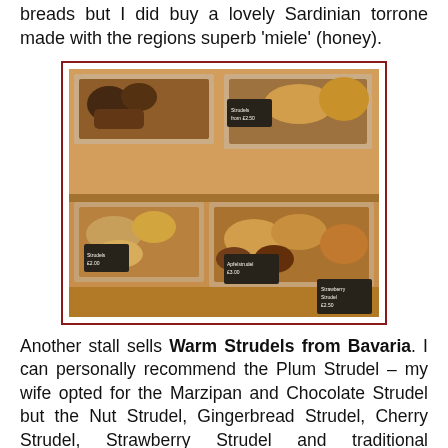breads but I did buy a lovely Sardinian torrone made with the regions superb 'miele' (honey).
[Figure (photo): Photo of a bakery stall display showing various strudels and pastries in aluminum trays with small blackboard price labels.]
Another stall sells Warm Strudels from Bavaria. I can personally recommend the Plum Strudel – my wife opted for the Marzipan and Chocolate Strudel but the Nut Strudel, Gingerbread Strudel, Cherry Strudel, Strawberry Strudel and traditional Apfelstrudel (apple strudel) all looked amazing - oodles of strudels!